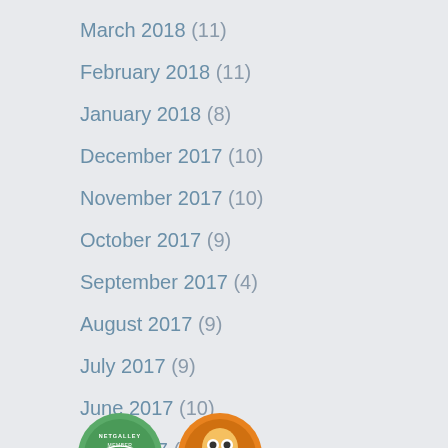March 2018 (11)
February 2018 (11)
January 2018 (8)
December 2017 (10)
November 2017 (10)
October 2017 (9)
September 2017 (4)
August 2017 (9)
July 2017 (9)
June 2017 (10)
May 2017 (3)
[Figure (logo): Two circular badge logos partially visible at the bottom of the page — one green NetGalley Member badge and one orange owl-like badge]